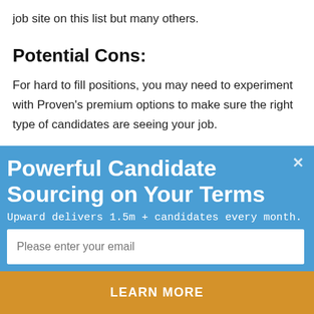job site on this list but many others.
Potential Cons:
For hard to fill positions, you may need to experiment with Proven’s premium options to make sure the right type of candidates are seeing your job.
Pro Tip:
Powerful Candidate Sourcing on Your Terms
Upward delivers 1.5m + candidates every month.
Please enter your email
LEARN MORE